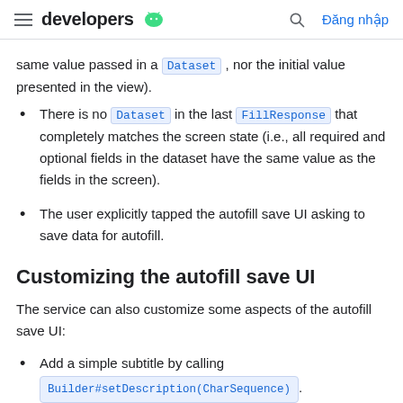developers [android logo] | [search icon] Đăng nhập
same value passed in a Dataset, nor the initial value presented in the view).
There is no Dataset in the last FillResponse that completely matches the screen state (i.e., all required and optional fields in the dataset have the same value as the fields in the screen).
The user explicitly tapped the autofill save UI asking to save data for autofill.
Customizing the autofill save UI
The service can also customize some aspects of the autofill save UI:
Add a simple subtitle by calling Builder#setDescription(CharSequence).